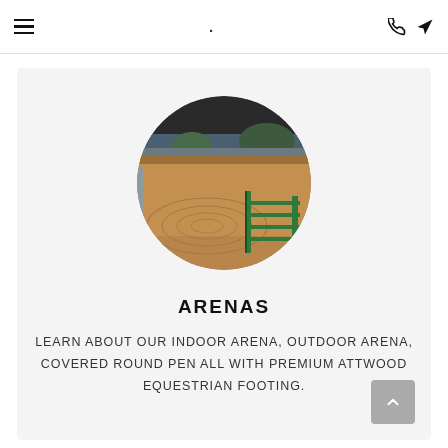≡  .  📞  ➤
[Figure (photo): Circular cropped photo of an equestrian arena interior showing a raked sandy dirt floor in brown tones with green metal pipe gate/fence in the foreground right, and arena panels/fencing and trees visible in the background.]
ARENAS
LEARN ABOUT OUR INDOOR ARENA, OUTDOOR ARENA, COVERED ROUND PEN ALL WITH PREMIUM ATTWOOD EQUESTRIAN FOOTING.